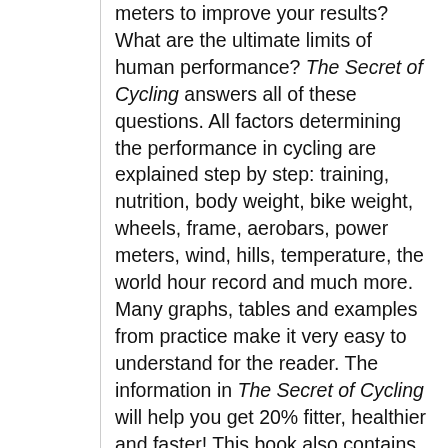meters to improve your results? What are the ultimate limits of human performance? The Secret of Cycling answers all of these questions. All factors determining the performance in cycling are explained step by step: training, nutrition, body weight, bike weight, wheels, frame, aerobars, power meters, wind, hills, temperature, the world hour record and much more. Many graphs, tables and examples from practice make it very easy to understand for the reader. The information in The Secret of Cycling will help you get 20% fitter, healthier and faster! This book also contains brand new insights on how the balance of the power of your human engine and the power requirement for cycling in different conditions determines